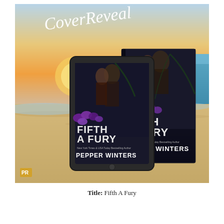[Figure (photo): Cover reveal promotional image showing two book covers (tablet and physical book) for 'Fifth A Fury' by Pepper Winters, set against a beach/sunset background with 'Cover Reveal' in script text overlay and 'PR' watermark in bottom left corner. The book covers show a dark romantic image of a couple with purple flowers and large text reading 'FIFTH A FURY' by 'PEPPER WINTERS'.]
Title: Fifth A Fury